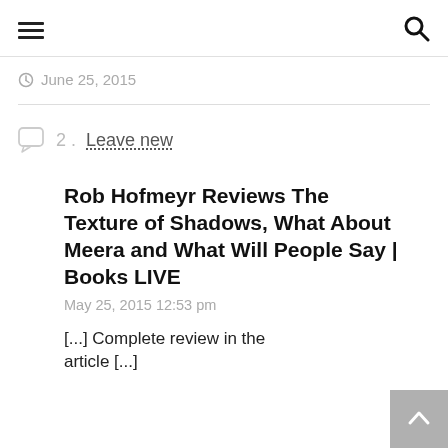☰ [menu icon] | [search icon]
June 25, 2015
2 . Leave new
Rob Hofmeyr Reviews The Texture of Shadows, What About Meera and What Will People Say | Books LIVE
May 25, 2015 12:53 pm
[...] Complete review in the article [...]